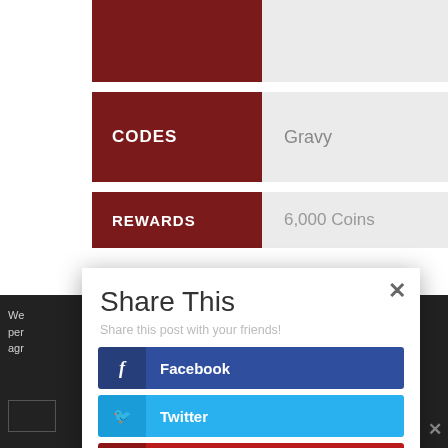| CODES | Gravy |
| --- | --- |
| CODES | Gravy |
| REWARDS | 6,000 Coins |
Share This
Share this post with your friends!
Facebook
Twitter
Pinterest
Like